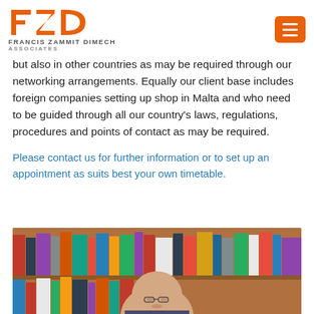[Figure (logo): Francis Zammit Dimech Associates logo with orange FZD lettermark]
but also in other countries as may be required through our networking arrangements. Equally our client base includes foreign companies setting up shop in Malta and who need to be guided through all our country's laws, regulations, procedures and points of contact as may be required.
Please contact us for further information or to set up an appointment as suits best your own timetable.
[Figure (photo): A bald man looking down, seated in front of a bookshelf filled with books]